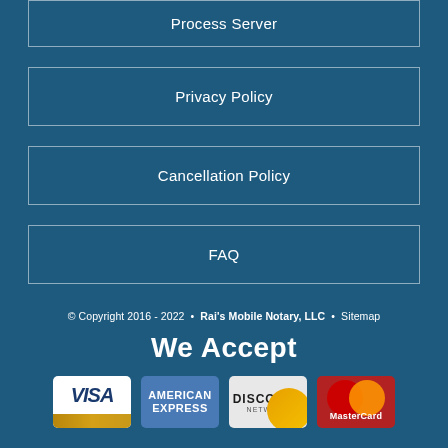Process Server
Privacy Policy
Cancellation Policy
FAQ
© Copyright 2016 - 2022 · Rai's Mobile Notary, LLC · Sitemap
We Accept
[Figure (illustration): Payment method logos: Visa, American Express, Discover Network, MasterCard]